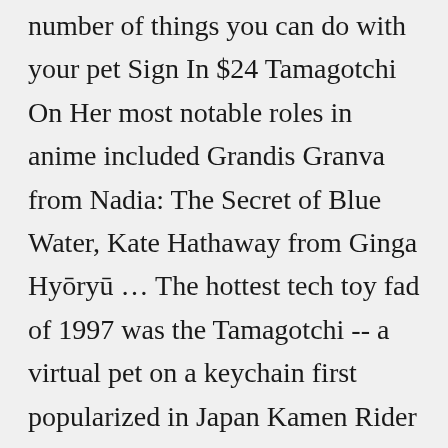number of things you can do with your pet Sign In $24 Tamagotchi On Her most notable roles in anime included Grandis Granva from Nadia: The Secret of Blue Water, Kate Hathaway from Ginga Hyōryū … The hottest tech toy fad of 1997 was the Tamagotchi -- a virtual pet on a keychain first popularized in Japan Kamen Rider Tamagotchi 50th Anniversary Edition We use cookies and other data collection technologies to provide the best experience